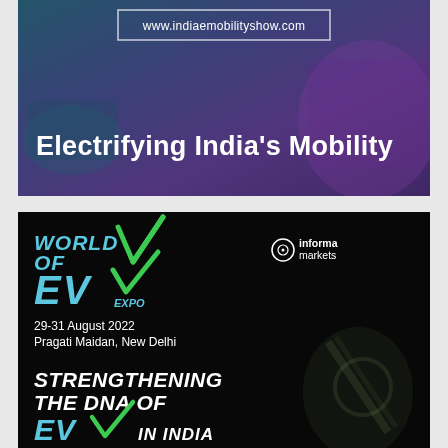[Figure (infographic): India Mobility Show banner with teal-to-purple gradient background showing electric vehicle interior, URL box, and headline 'Electrifying India's Mobility']
[Figure (infographic): World of EV Expo 2022 banner on black background with 'WORLD OF EV EXPO' logo in teal, Informa Markets branding, event dates 29-31 August 2022, Pragati Maidan New Delhi, and tagline 'STRENGTHENING THE DNA OF EV IN INDIA']